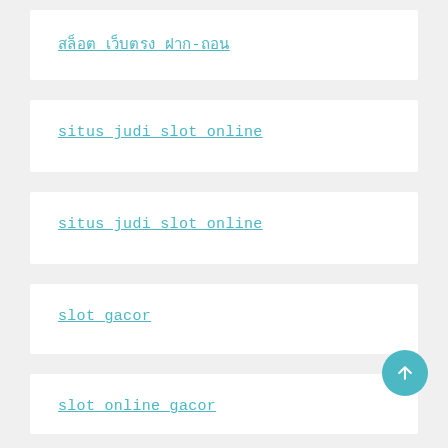สล็อต เว็บตรง ฝาก-ถอน
situs judi slot online
situs judi slot online
slot gacor
slot online gacor
slot777